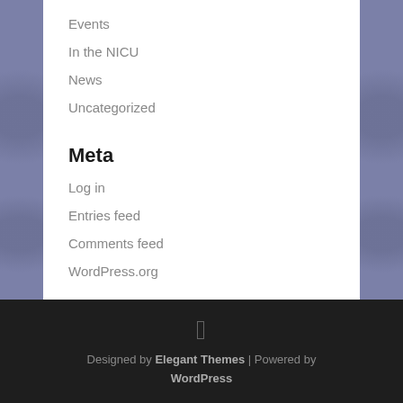Events
In the NICU
News
Uncategorized
Meta
Log in
Entries feed
Comments feed
WordPress.org
Designed by Elegant Themes | Powered by WordPress